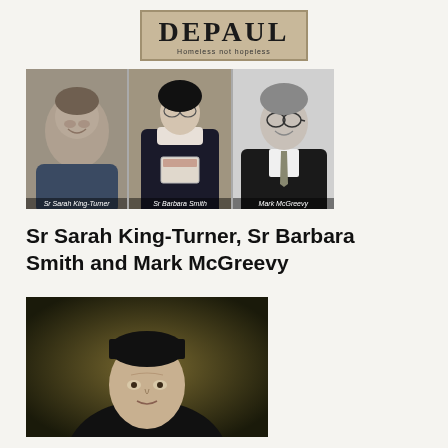[Figure (logo): Depaul charity logo — a tan/burlap-textured rectangle with bold serif text DEPAUL and tagline 'Homeless not hopeless']
[Figure (photo): Three black-and-white/color photographs side by side: Sr Sarah King-Turner (smiling woman), Sr Barbara Smith (nun in habit holding a box), Mark McGreevy (man in suit and tie)]
Sr Sarah King-Turner, Sr Barbara Smith and Mark McGreevy
[Figure (photo): Portrait painting of a man wearing a dark clerical cap, classical oil-painting style, visible from shoulders up]